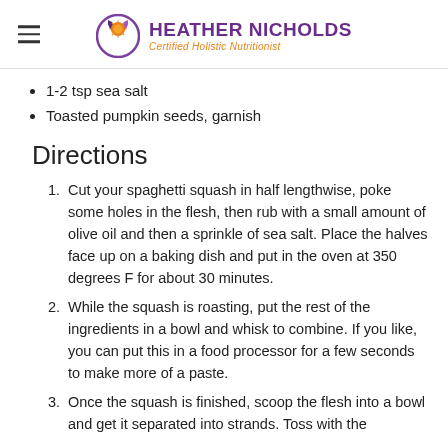HEATHER NICHOLDS — Certified Holistic Nutritionist
1-2 tsp sea salt
Toasted pumpkin seeds, garnish
Directions
Cut your spaghetti squash in half lengthwise, poke some holes in the flesh, then rub with a small amount of olive oil and then a sprinkle of sea salt. Place the halves face up on a baking dish and put in the oven at 350 degrees F for about 30 minutes.
While the squash is roasting, put the rest of the ingredients in a bowl and whisk to combine. If you like, you can put this in a food processor for a few seconds to make more of a paste.
Once the squash is finished, scoop the flesh into a bowl and get it separated into strands. Toss with the